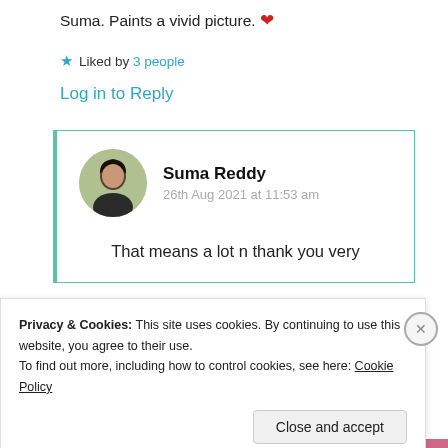Suma. Paints a vivid picture. ❤️
★ Liked by 3 people
Log in to Reply
Suma Reddy
26th Aug 2021 at 11:53 am
That means a lot n thank you very
Privacy & Cookies: This site uses cookies. By continuing to use this website, you agree to their use.
To find out more, including how to control cookies, see here: Cookie Policy
Close and accept